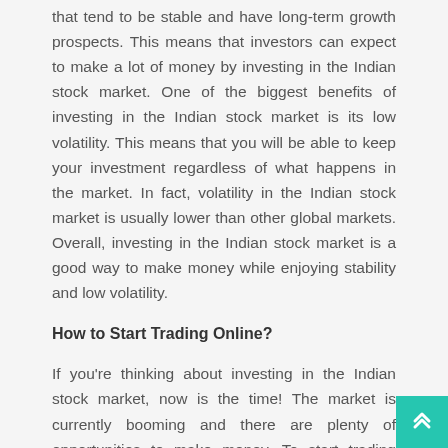that tend to be stable and have long-term growth prospects. This means that investors can expect to make a lot of money by investing in the Indian stock market. One of the biggest benefits of investing in the Indian stock market is its low volatility. This means that you will be able to keep your investment regardless of what happens in the market. In fact, volatility in the Indian stock market is usually lower than other global markets. Overall, investing in the Indian stock market is a good way to make money while enjoying stability and low volatility.
How to Start Trading Online?
If you're thinking about investing in the Indian stock market, now is the time! The market is currently booming and there are plenty of opportunities to make money. To start trading online, you'll first need to create an account with one of the many online trading platforms. After you have an account, you'll need to find a broker who offers